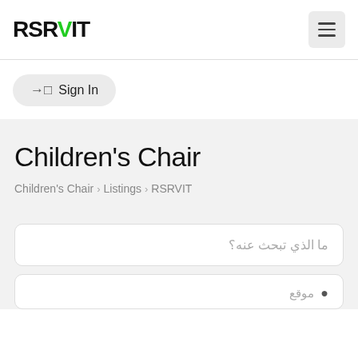RSRVIT
Sign In
Children's Chair
Children's Chair > Listings > RSRVIT
ما الذي تبحث عنه؟
• موقع